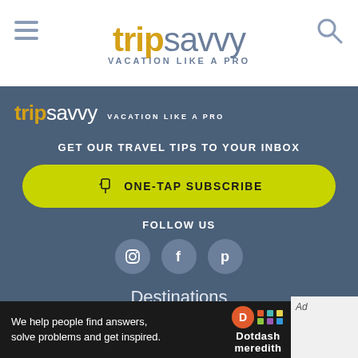[Figure (logo): TripSavvy logo with 'VACATION LIKE A PRO' tagline in top white header bar]
[Figure (logo): TripSavvy logo inside dark panel with 'VACATION LIKE A PRO' tagline]
GET OUR TRAVEL TIPS TO YOUR INBOX
ONE-TAP SUBSCRIBE
FOLLOW US
[Figure (infographic): Three social media icons: Instagram, Facebook, Pinterest in light blue circles]
Destinations
Trip Planning
[Figure (infographic): Dotdash Meredith advertisement bar: 'We help people find answers, solve problems and get inspired.' with Dotdash Meredith logo]